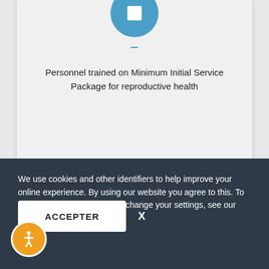[Figure (infographic): A card with a blue circle icon at top, a dash, and descriptive text about personnel trained on Minimum Initial Service Package for reproductive health, with an orange progress bar at the bottom.]
Personnel trained on Minimum Initial Service Package for reproductive health
[Figure (screenshot): Partially visible second card below the first with bold truncated text visible.]
We use cookies and other identifiers to help improve your online experience. By using our website you agree to this. To learn more, including how to change your settings, see our cookie policy
ACCEPTER
X